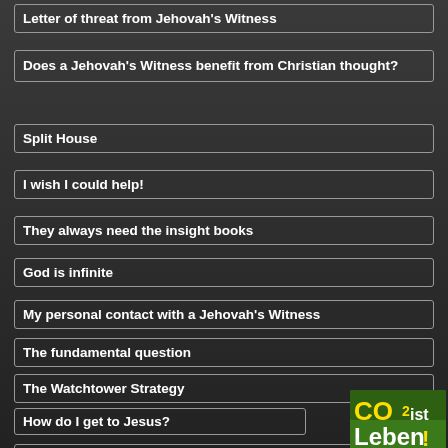Letter of threat from Jehovah's Witness
Does a Jehovah's Witness benefit from Christian thought?
Split House
I wish I could help!
They always need the insight books
God is infinite
My personal contact with a Jehovah's Witness
The fundamental question
The Watchtower Strategy
How do I get to Jesus?
[Figure (logo): CO2 ist Leben green logo badge]
Jehovah's Witnesses – Concreted nor